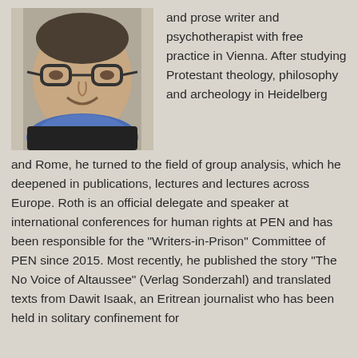[Figure (photo): Headshot of a middle-aged man with glasses and a blue scarf, smiling, photographed indoors.]
and prose writer and psychotherapist with free practice in Vienna. After studying Protestant theology, philosophy and archeology in Heidelberg and Rome, he turned to the field of group analysis, which he deepened in publications, lectures and lectures across Europe. Roth is an official delegate and speaker at international conferences for human rights at PEN and has been responsible for the "Writers-in-Prison" Committee of PEN since 2015. Most recently, he published the story "The No Voice of Altaussee" (Verlag Sonderzahl) and translated texts from Dawit Isaak, an Eritrean journalist who has been held in solitary confinement for